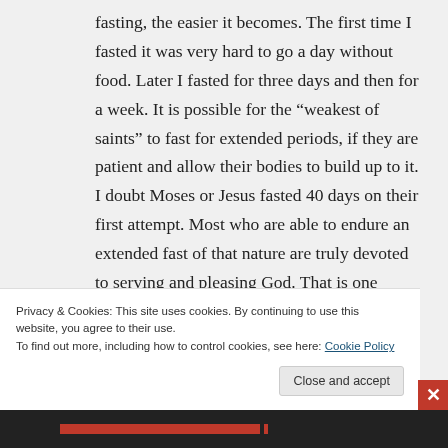fasting, the easier it becomes. The first time I fasted it was very hard to go a day without food. Later I fasted for three days and then for a week. It is possible for the “weakest of saints” to fast for extended periods, if they are patient and allow their bodies to build up to it. I doubt Moses or Jesus fasted 40 days on their first attempt. Most who are able to endure an extended fast of that nature are truly devoted to serving and pleasing God. That is one reason the
Privacy & Cookies: This site uses cookies. By continuing to use this website, you agree to their use.
To find out more, including how to control cookies, see here: Cookie Policy
Close and accept